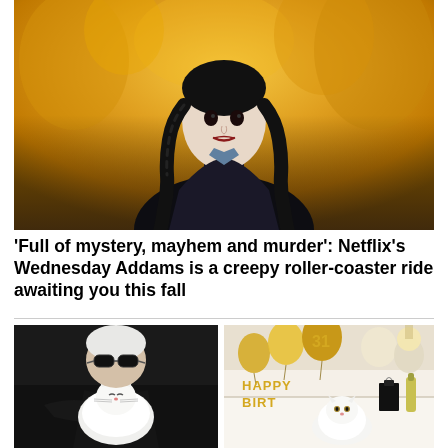[Figure (photo): A young woman with dark braided pigtails, pale skin, wearing a dark school uniform with a white collar, standing against a background of golden autumn foliage (Netflix Wednesday Addams character)]
'Full of mystery, mayhem and murder': Netflix's Wednesday Addams is a creepy roller-coaster ride awaiting you this fall
[Figure (photo): An elderly man with white hair wearing large black sunglasses and a black suit, holding a fluffy white cat close to his face (Karl Lagerfeld with his cat)]
[Figure (photo): A birthday party setup on a white surface with gold balloon letters spelling 'HAPPY BIRTHDAY', balloon number 31, champagne bottle, gift bags, and a fluffy white cat sitting among the decorations]